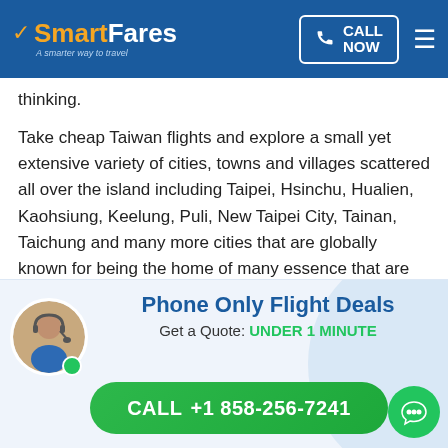SmartFares - A smarter way to travel | CALL NOW
thinking.
Take cheap Taiwan flights and explore a small yet extensive variety of cities, towns and villages scattered all over the island including Taipei, Hsinchu, Hualien, Kaohsiung, Keelung, Puli, New Taipei City, Tainan, Taichung and many more cities that are globally known for being the home of many essence that are rare to be found anywhere else in the world. Explore the alleys and outskirts of these sprawling cities whilst visiting a fine variety of attractions such as National Palace Museum, Taroko National Park, Sun Moon Lake, Kenting National Park. Chiang Kai-shek Memorial Hall. Alishan National
[Figure (infographic): Phone Only Flight Deals banner with agent photo, green dot indicator, text 'Get a Quote: UNDER 1 MINUTE' and a green call button showing CALL +1 858-256-7241, plus a chat bubble icon]